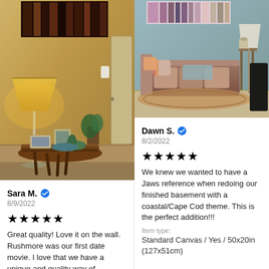[Figure (photo): Room interior with wooden side table, lamp, plants, and framed photo. Canvas art hanging on wall above.]
Sara M. ✓
8/9/2022
★★★★★
Great quality!  Love it on the wall. Rushmore was our first date movie. I love that we have a unique and quality way of
[Figure (photo): Living room with brown sectional sofa, decorative pillows, colorful rug, and canvas art on wall.]
Dawn S. ✓
8/2/2022
★★★★★
We knew we wanted to have a Jaws reference when redoing our finished basement with a coastal/Cape Cod theme. This is the perfect addition!!!
Item type:
Standard Canvas / Yes / 50x20in (127x51cm)